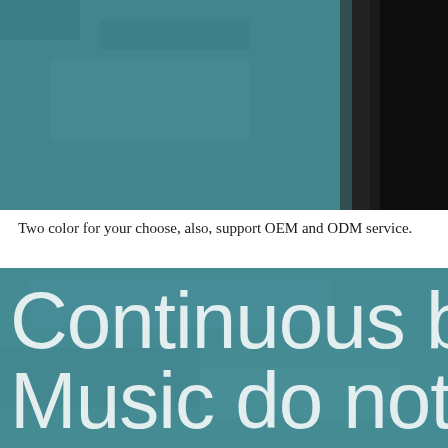[Figure (photo): Close-up photo of two colored surfaces — teal/dark teal textured fabric on the left portion and dark gray/black surface on the right, showing product color options]
Two color for your choose, also, support OEM and ODM service.
[Figure (photo): Teal textured surface with large white text reading 'Continuous ba' and 'Music do not s' (text is cropped at right edge)]